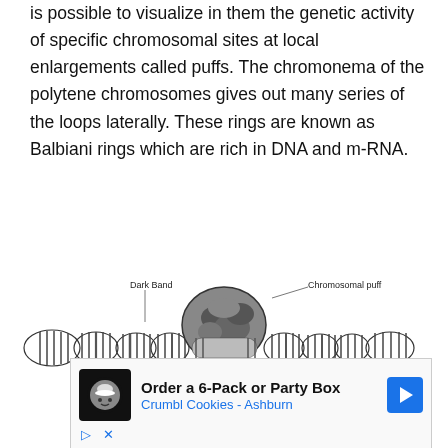is possible to visualize in them the genetic activity of specific chromosomal sites at local enlargements called puffs. The chromonema of the polytene chromosomes gives out many series of the loops laterally. These rings are known as Balbiani rings which are rich in DNA and m-RNA.
[Figure (illustration): Diagram of a polytene chromosome showing banded structure with a large chromosomal puff in the center. Labels point to 'Dark Band' on the left side and 'Chromosomal puff' at the top center-right.]
[Figure (screenshot): Advertisement banner for Crumbl Cookies - Ashburn: 'Order a 6-Pack or Party Box' with cookie icon and navigation arrow.]